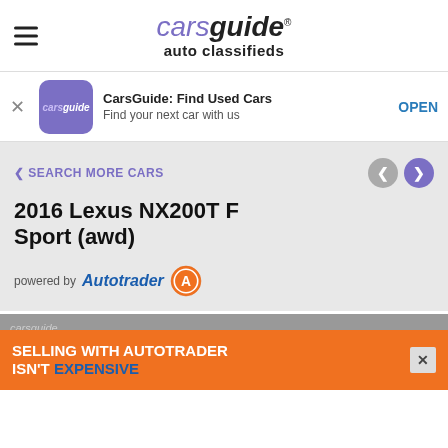carsguide auto classifieds
CarsGuide: Find Used Cars
Find your next car with us
OPEN
❮ SEARCH MORE CARS
2016 Lexus NX200T F Sport (awd)
powered by Autotrader
SELLING WITH AUTOTRADER ISN'T EXPENSIVE